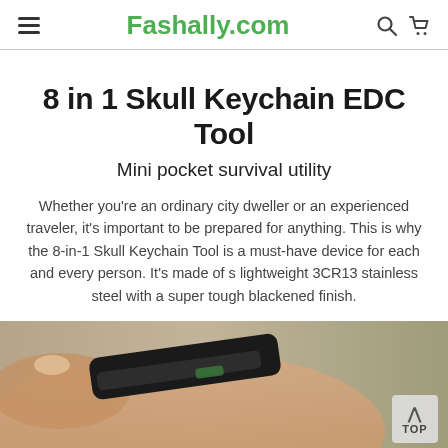Fashally.com
8 in 1 Skull Keychain EDC Tool
Mini pocket survival utility
Whether you’re an ordinary city dweller or an experienced traveler, it’s important to be prepared for anything. This is why the 8-in-1 Skull Keychain Tool is a must-have device for each and every person. It’s made of s lightweight 3CR13 stainless steel with a super tough blackened finish.
[Figure (photo): Photo of a hand holding a black skull-shaped EDC keychain tool, partially visible at the bottom of the page.]